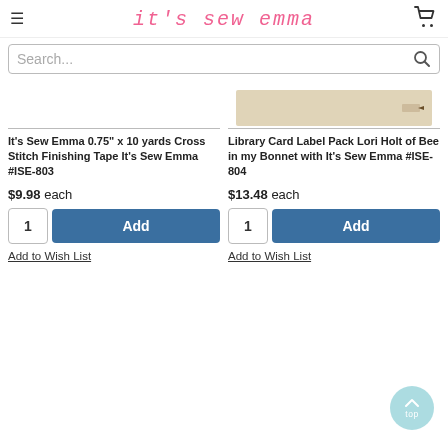it's sew emma
Search...
[Figure (photo): Library Card Label Pack product image showing a tan/beige label strip with small decorative motif]
It's Sew Emma 0.75" x 10 yards Cross Stitch Finishing Tape It's Sew Emma #ISE-803
Library Card Label Pack Lori Holt of Bee in my Bonnet with It's Sew Emma #ISE-804
$9.98 each
$13.48 each
Add to Wish List
Add to Wish List